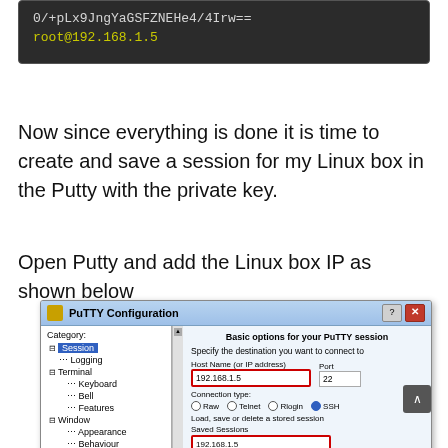[Figure (screenshot): Terminal/console output showing: '0/+pLx9JngYaGSFZNEHe4/4Irw==' in gray text and 'root@192.168.1.5' in yellow text on a dark background]
Now since everything is done it is time to create and save a session for my Linux box in the Putty with the private key.
Open Putty and add the Linux box IP as shown below
[Figure (screenshot): PuTTY Configuration dialog showing: Category tree on left with Session (selected/highlighted), Logging, Terminal, Keyboard, Bell, Features, Window, Appearance, Behaviour, Translation. Right panel shows 'Basic options for your PuTTY session', Host Name field with '192.168.1.5' (red border), Port '22', Connection type with SSH selected, Load/save session section with Saved Sessions field showing '192.168.1.5' (partial, red border).]